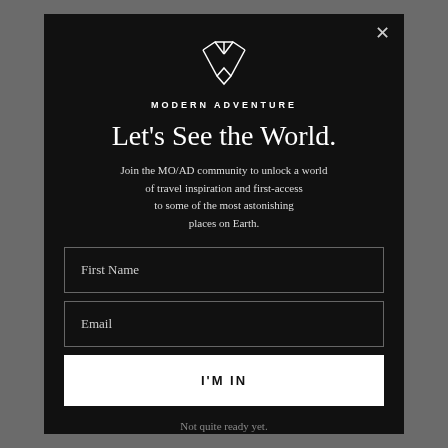[Figure (logo): Modern Adventure geometric logo mark — two crossed arrow/diamond shapes in white outline]
MODERN ADVENTURE
Let's See the World.
Join the MO/AD community to unlock a world of travel inspiration and first-access to some of the most astonishing places on Earth.
First Name
Email
I'M IN
Not quite ready yet.